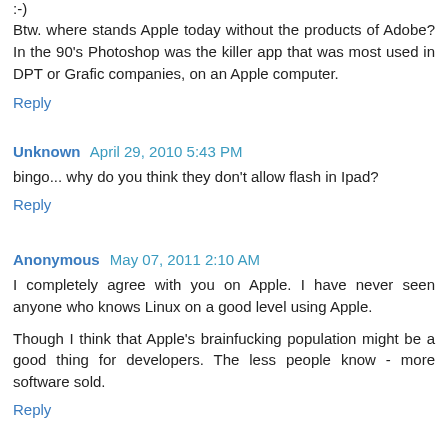:-)
Btw. where stands Apple today without the products of Adobe? In the 90's Photoshop was the killer app that was most used in DPT or Grafic companies, on an Apple computer.
Reply
Unknown   April 29, 2010 5:43 PM
bingo... why do you think they don't allow flash in Ipad?
Reply
Anonymous   May 07, 2011 2:10 AM
I completely agree with you on Apple. I have never seen anyone who knows Linux on a good level using Apple.
Though I think that Apple's brainfucking population might be a good thing for developers. The less people know - more software sold.
Reply